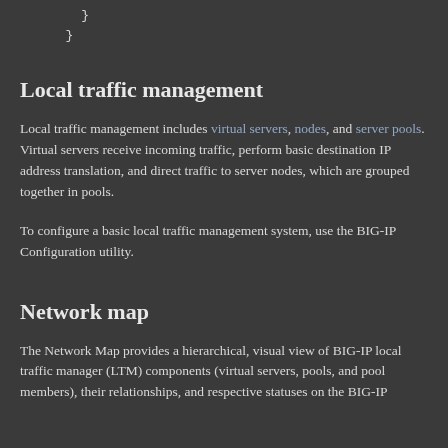}
  }
Local traffic management
Local traffic management includes virtual servers, nodes, and server pools. Virtual servers receive incoming traffic, perform basic destination IP address translation, and direct traffic to server nodes, which are grouped together in pools.
To configure a basic local traffic management system, use the BIG-IP Configuration utility.
Network map
The Network Map provides a hierarchical, visual view of BIG-IP local traffic manager (LTM) components (virtual servers, pools, and pool members), their relationships, and respective statuses on the BIG-IP